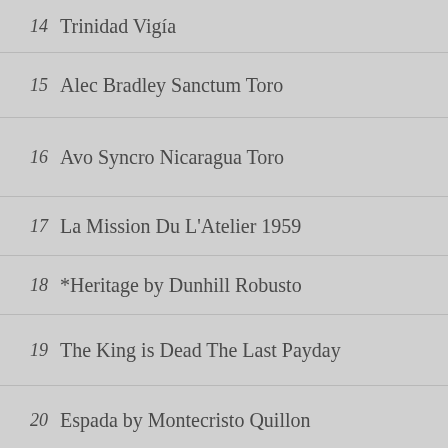14  Trinidad Vigía
15  Alec Bradley Sanctum Toro
16  Avo Syncro Nicaragua Toro
17  La Mission Du L'Atelier 1959
18  *Heritage by Dunhill Robusto
19  The King is Dead The Last Payday
20  Espada by Montecristo Quillon